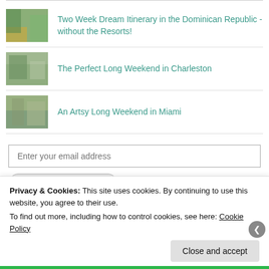Two Week Dream Itinerary in the Dominican Republic - without the Resorts!
The Perfect Long Weekend in Charleston
An Artsy Long Weekend in Miami
Enter your email address
Privacy & Cookies: This site uses cookies. By continuing to use this website, you agree to their use. To find out more, including how to control cookies, see here: Cookie Policy
Close and accept